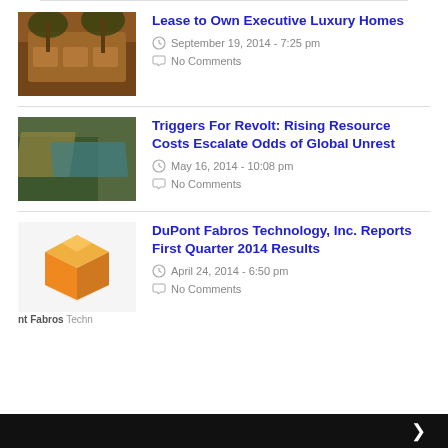Lease to Own Executive Luxury Homes | September 19, 2014 - 7:25 pm | No Comments
Triggers For Revolt: Rising Resource Costs Escalate Odds of Global Unrest | May 16, 2014 - 10:08 pm | No Comments
DuPont Fabros Technology, Inc. Reports First Quarter 2014 Results | April 24, 2014 - 6:50 pm | No Comments